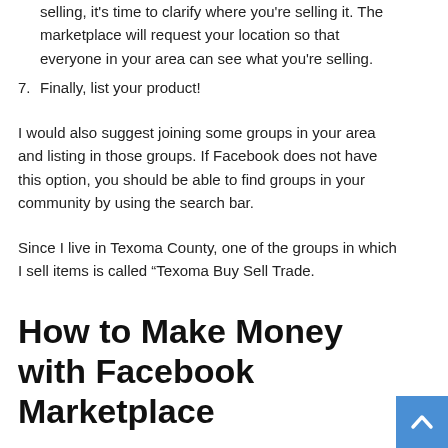6. Once you've entered all of the information on what you're selling, it's time to clarify where you're selling it. The marketplace will request your location so that everyone in your area can see what you're selling.
7. Finally, list your product!
I would also suggest joining some groups in your area and listing in those groups. If Facebook does not have this option, you should be able to find groups in your community by using the search bar.
Since I live in Texoma County, one of the groups in which I sell items is called “Texoma Buy Sell Trade.
How to Make Money with Facebook Marketplace